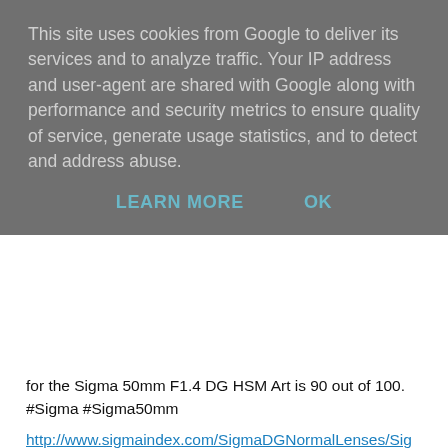This site uses cookies from Google to deliver its services and to analyze traffic. Your IP address and user-agent are shared with Google along with performance and security metrics to ensure quality of service, generate usage statistics, and to detect and address abuse.
LEARN MORE    OK
for the Sigma 50mm F1.4 DG HSM Art is 90 out of 100. #Sigma #Sigma50mm
http://www.sigmaindex.com/SigmaDGNormalLenses/Sigma-50mm-F14-DG-HSM-Art.html
'This question was bound to come up...'. A new review about the Sigma 35mm f/1.4 DG HSM A from The Photographer has been found and added to the index. The average rating for the Sigma 35mm f/1.4 DG HSM A is 87 out of 100. #Sigma #Sigma35mm
http://www.sigmaindex.com/SigmaDGWideLenses/Sigma-35mm-f14-DG-HSM-A.html